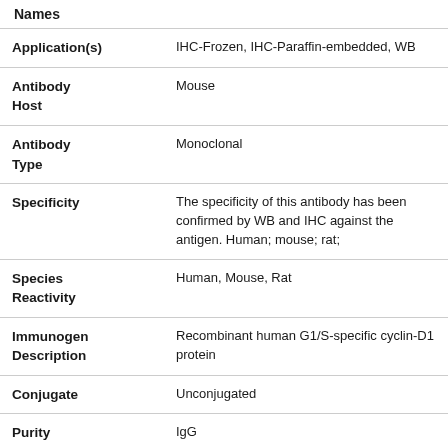| Property | Value |
| --- | --- |
| Names |  |
| Application(s) | IHC-Frozen, IHC-Paraffin-embedded, WB |
| Antibody Host | Mouse |
| Antibody Type | Monoclonal |
| Specificity | The specificity of this antibody has been confirmed by WB and IHC against the antigen. Human; mouse; rat; |
| Species Reactivity | Human, Mouse, Rat |
| Immunogen Description | Recombinant human G1/S-specific cyclin-D1 protein |
| Conjugate | Unconjugated |
| Purity Description | IgG |
| Regulatory Status | For research use only. |